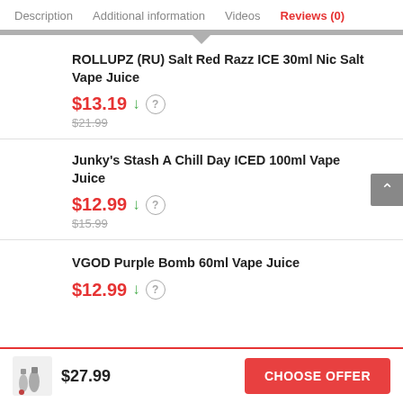Description  Additional information  Videos  Reviews (0)
ROLLUPZ (RU) Salt Red Razz ICE 30ml Nic Salt Vape Juice
$13.19 ↓ (?) $21.99
Junky's Stash A Chill Day ICED 100ml Vape Juice
$12.99 ↓ (?) $15.99
VGOD Purple Bomb 60ml Vape Juice
$12.99 ↓ (?)
$27.99  CHOOSE OFFER